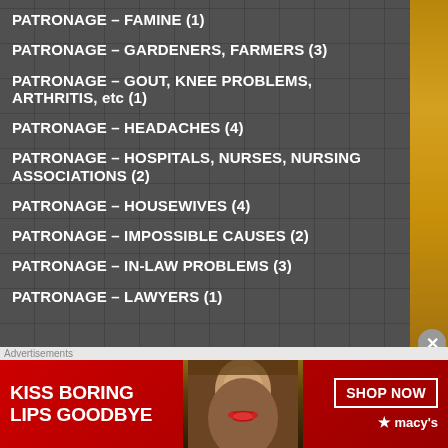PATRONAGE – FAMINE (1)
PATRONAGE – GARDENERS, FARMERS (3)
PATRONAGE – GOUT, KNEE PROBLEMS, ARTHRITIS, etc (1)
PATRONAGE – HEADACHES (4)
PATRONAGE – HOSPITALS, NURSES, NURSING ASSOCIATIONS (2)
PATRONAGE – HOUSEWIVES (4)
PATRONAGE – IMPOSSIBLE CAUSES (2)
PATRONAGE – IN-LAW PROBLEMS (3)
PATRONAGE – LAWYERS (1)
Advertisements
[Figure (photo): Macy's advertisement: woman with red lips, text 'KISS BORING LIPS GOODBYE', 'SHOP NOW' button and Macy's star logo]